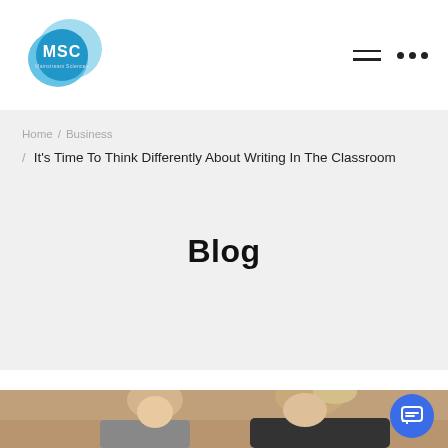[Figure (logo): MSC Mainstream Sciences blue cloud/blob logo with white text 'MSC' and small subtitle]
Home / Business
/ It's Time To Think Differently About Writing In The Classroom
Blog
[Figure (photo): A woman with blonde hair in a bun, wearing dark clothing, leaning over and looking at something with a young child, seated on a tan/beige couch or chair. Partially cropped at bottom of page.]